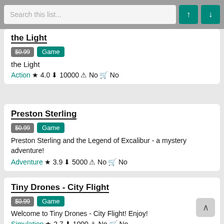Search this list...
the Light
$0.99 Game
the Light
Action ★ 4.0 ↙ 10000 ⊕ No 🛒 No
Preston Sterling
$0.99 Game
Preston Sterling and the Legend of Excalibur - a mystery adventure!
Adventure ★ 3.9 ↙ 5000 ⊕ No 🛒 No
Tiny Drones - City Flight
$0.99 Game
Welcome to Tiny Drones - City Flight! Enjoy!
Simulation ★ 2.7 ↙ 1000 ⊕ No 🛒 No